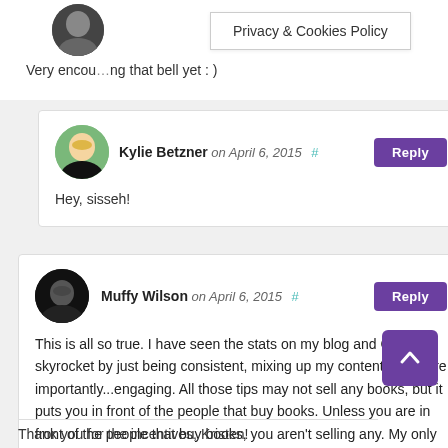Very encou...ng that bell yet : )
Privacy & Cookies Policy
Kylie Betzner on April 6, 2015 # Reply
Hey, sisseh!
Muffy Wilson on April 6, 2015 # Reply
This is all so true. I have seen the stats on my blog and G+ page skyrocket by just being consistent, mixing up my content and more importantly...engaging. All those tips may not sell any books, but it puts you in front of the people that buy books. Unless you are in front of the people that buy books, you aren't selling any. My only other tip is promote other authors a... it forward. Many hands make light work 🙂
Thank you for the incentives, Kristen!